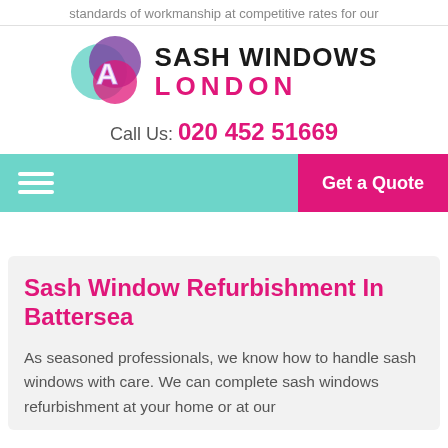standards of workmanship at competitive rates for our
[Figure (logo): Sash Windows London logo with overlapping circles in teal, purple, and pink with a stylized A letter, and bold text SASH WINDOWS LONDON]
Call Us: 020 452 51669
Get a Quote
Sash Window Refurbishment In Battersea
As seasoned professionals, we know how to handle sash windows with care. We can complete sash windows refurbishment at your home or at our